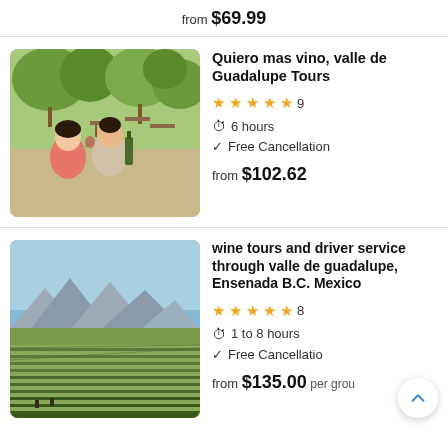from $69.99
Quiero mas vino, valle de Guadalupe Tours
★★★★★ 9
6 hours
Free Cancellation
from $102.62
[Figure (photo): Couple clinking wine glasses at an outdoor vineyard restaurant under trees]
wine tours and driver service through valle de guadalupe, Ensenada B.C. Mexico
★★★★★ 8
1 to 8 hours
Free Cancellation
from $135.00 per group
[Figure (photo): Aerial view of vineyard rows with mountains in the background under blue sky]